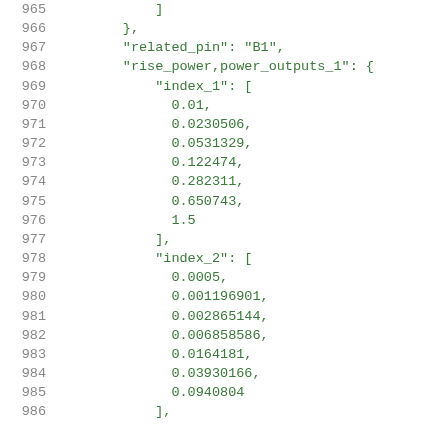965    ]
966    },
967    "related_pin": "B1",
968    "rise_power,power_outputs_1": {
969        "index_1": [
970            0.01,
971            0.0230506,
972            0.0531329,
973            0.122474,
974            0.282311,
975            0.650743,
976            1.5
977        ],
978        "index_2": [
979            0.0005,
980            0.001196901,
981            0.002865144,
982            0.006858586,
983            0.0164181,
984            0.03930166,
985            0.0940804
986        ],